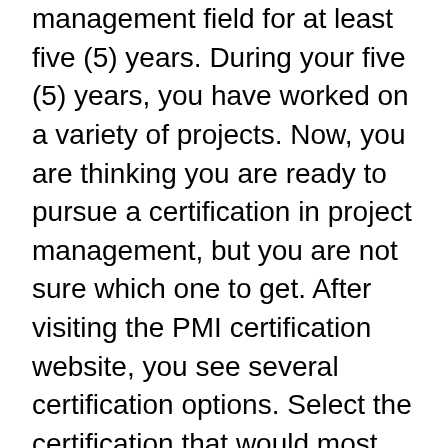management field for at least five (5) years. During your five (5) years, you have worked on a variety of projects. Now, you are thinking you are ready to pursue a certification in project management, but you are not sure which one to get. After visiting the PMI certification website, you see several certification options. Select the certification that would most interest you and explain why you chose such a certification.
· After posting your response, respond to at least one (1) of your classmates on their selection and rationale.
· BBelow post from student required responses. Yarsin Scott
I would select the Project Management Professional (PMP) certification. The PMP certification compared to other certifications offered by the Project Management Institute, is truly global. I as a holder